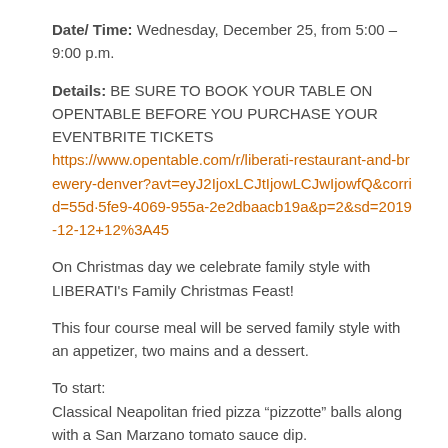Date/ Time: Wednesday, December 25, from 5:00 –9:00 p.m.
Details: BE SURE TO BOOK YOUR TABLE ON OPENTABLE BEFORE YOU PURCHASE YOUR EVENTBRITE TICKETS https://www.opentable.com/r/liberati-restaurant-and-brewery-denver?avt=eyJ2IjoxLCJtIjowLCJwIjowfQ&corrid=55d5fe9-4069-955a-2e2dbaacb19a&p=2&sd=2019-12-12+12%3A45
On Christmas day we celebrate family style with LIBERATI's Family Christmas Feast!
This four course meal will be served family style with an appetizer, two mains and a dessert.
To start: Classical Neapolitan fried pizza “pizzotte” balls along with a San Marzano tomato sauce dip.